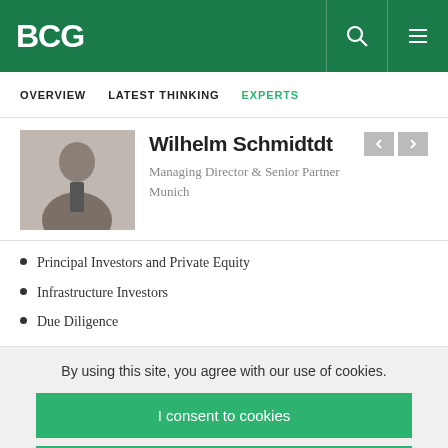BCG
OVERVIEW   LATEST THINKING   EXPERTS
Wilhelm Schmidtdt
Managing Director & Senior Partner
Munich
Principal Investors and Private Equity
Infrastructure Investors
Due Diligence
By using this site, you agree with our use of cookies.
I consent to cookies
Want to know more?
Read our Cookie Policy